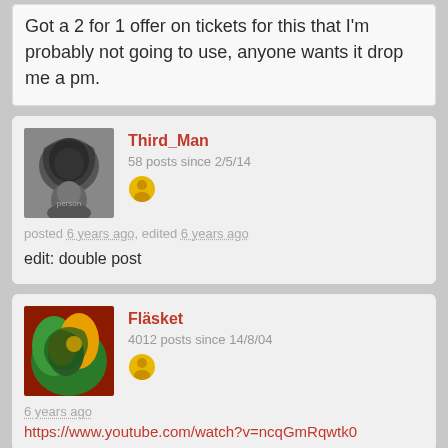Got a 2 for 1 offer on tickets for this that I'm probably not going to use, anyone wants it drop me a pm.
Third_Man
58 posts since 2/5/14
posted 6 years ago, edited 6 years ago
edit: double post
Fläsket
4012 posts since 14/8/04
6 years ago
https://www.youtube.com/watch?v=ncqGmRqwtk0